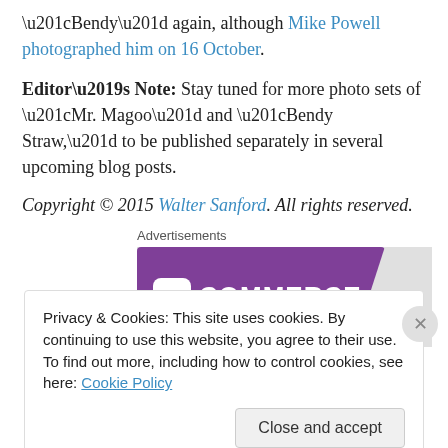“Bendy” again, although Mike Powell photographed him on 16 October.
Editor’s Note: Stay tuned for more photo sets of “Mr. Magoo” and “Bendy Straw,” to be published separately in several upcoming blog posts.
Copyright © 2015 Walter Sanford. All rights reserved.
[Figure (logo): WooCommerce advertisement banner with purple background and white logo text]
Privacy & Cookies: This site uses cookies. By continuing to use this website, you agree to their use. To find out more, including how to control cookies, see here: Cookie Policy